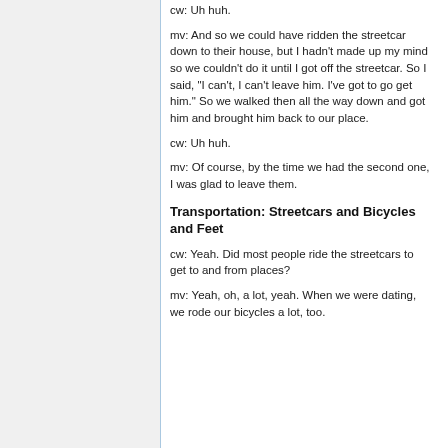cw: Uh huh.
mv: And so we could have ridden the streetcar down to their house, but I hadn't made up my mind so we couldn't do it until I got off the streetcar. So I said, "I can't, I can't leave him. I've got to go get him." So we walked then all the way down and got him and brought him back to our place.
cw: Uh huh.
mv: Of course, by the time we had the second one, I was glad to leave them.
Transportation: Streetcars and Bicycles and Feet
cw: Yeah. Did most people ride the streetcars to get to and from places?
mv: Yeah, oh, a lot, yeah. When we were dating, we rode our bicycles a lot, too.